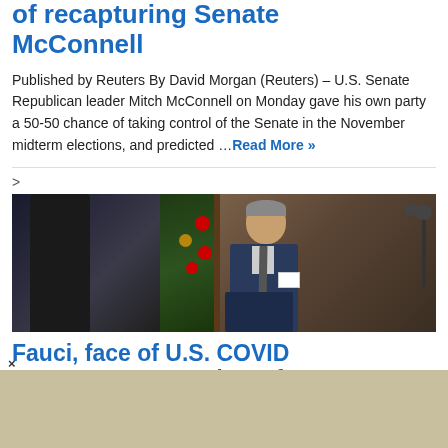of recapturing Senate McConnell
Published by Reuters By David Morgan (Reuters) – U.S. Senate Republican leader Mitch McConnell on Monday gave his own party a 50-50 chance of taking control of the Senate in the November midterm elections, and predicted …Read More »
[Figure (photo): Left: person in dark suit with blue tie near Christmas decoration. Right: Dr. Fauci in dark suit at podium with microphone, holding a card.]
Fauci, face of U.S. COVID response, to step down from